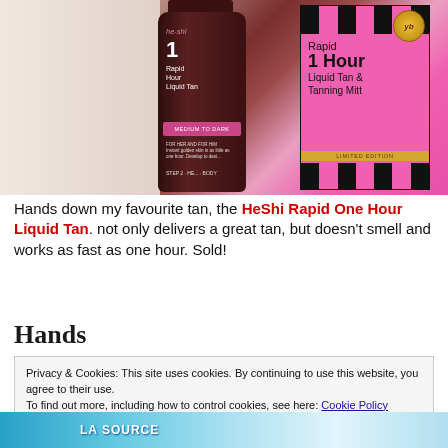[Figure (photo): Photo showing two self-tan products: a dark brown bottle labeled 'he-shi 1 Rapid Hour Liquid Tan' and a pink box with black stripes labeled 'Rapid 1 Hour Liquid Tan & Tanning Mitt LIMITED EDITION' with a gold badge.]
Hands down my favourite tan, the HeShi Rapid One Hour Liquid Tan. not only delivers a great tan, but doesn't smell and works as fast as one hour. Sold!
Hands
Privacy & Cookies: This site uses cookies. By continuing to use this website, you agree to their use.
To find out more, including how to control cookies, see here: Cookie Policy
[Figure (photo): Partial bottom image showing LA SOURCE product packaging in blue/teal tones.]